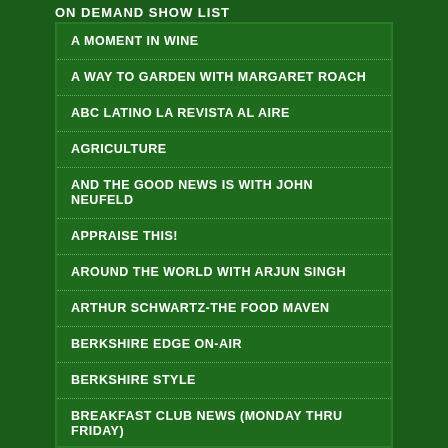ON DEMAND SHOW LIST
A MOMENT IN WINE
A WAY TO GARDEN WITH MARGARET ROACH
ABC LATINO LA REVISTA AL AIRE
AGRICULTURE
AND THE GOOD NEWS IS WITH JOHN NEUFELD
APPRAISE THIS!
AROUND THE WORLD WITH ARJUN SINGH
ARTHUR SCHWARTZ-THE FOOD MAVEN
BERKSHIRE EDGE ON-AIR
BERKSHIRE STYLE
BREAKFAST CLUB NEWS (Monday thru Friday)
BREAKFAST CLUB SPORTS REPORT